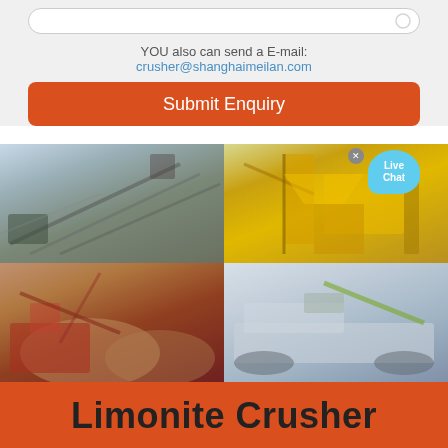YOU also can send a E-mail: crusher@shanghaimeilan.com
Submit Enquiry
[Figure (photo): Four photos showing industrial mining/crushing equipment: top-left shows conveyor belt and industrial site, top-right shows yellow heavy industrial machinery with cranes and structure, bottom-left shows red crushing equipment with aggregate piles, bottom-right shows white mobile crusher on tracks.]
Limonite Crusher